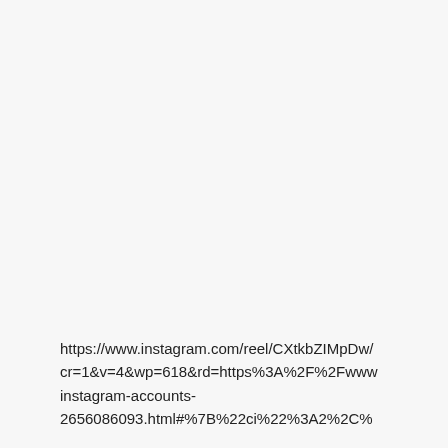https://www.instagram.com/reel/CXtkbZIMpDw/cr=1&v=4&wp=618&rd=https%3A%2F%2Fwww.instagram-accounts-2656086093.html#%7B%22ci%22%3A2%2C%